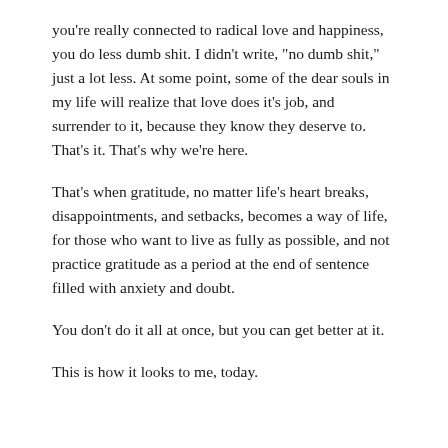you’re really connected to radical love and happiness, you do less dumb shit.  I didn’t write, “no dumb shit,” just a lot less.   At some point, some of the dear souls in my life will realize that love does it’s job, and surrender to it, because they know they deserve to.  That’s it.  That’s why we’re here.
That’s when gratitude, no matter life’s heart breaks, disappointments, and setbacks, becomes a way of life, for those who want to live as fully as possible, and not practice gratitude as a period at the end of sentence filled with anxiety and doubt.
You don’t do it all at once, but you can get better at it.
This is how it looks to me, today.